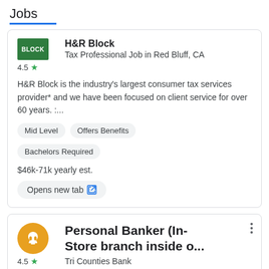Jobs
[Figure (logo): H&R Block green logo with white text BLOCK]
H&R Block
Tax Professional Job in Red Bluff, CA
H&R Block is the industry's largest consumer tax services provider* and we have been focused on client service for over 60 years. :...
Mid Level
Offers Benefits
Bachelors Required
$46k-71k yearly est.
Opens new tab
[Figure (logo): Tri Counties Bank golden logo — circular emblem with stylized mask/face shape in orange/gold]
Personal Banker (In-Store branch inside o...
Tri Counties Bank